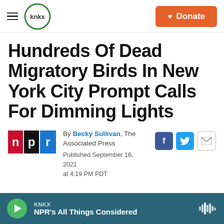KNKX | Donate
Hundreds Of Dead Migratory Birds In New York City Prompt Calls For Dimming Lights
By Becky Sullivan, The Associated Press
Published September 16, 2021 at 4:19 PM PDT
[Figure (logo): NPR logo — red square with 'n', black square with 'p', blue square with 'r']
KNKX — NPR's All Things Considered (audio player bar)